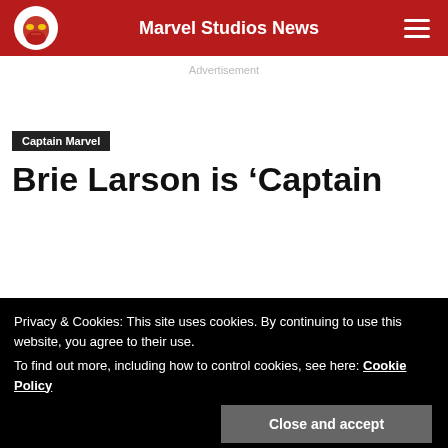Marvel Studios News
Advertisement
Captain Marvel
Brie Larson is 'Captain
Privacy & Cookies: This site uses cookies. By continuing to use this website, you agree to their use.
To find out more, including how to control cookies, see here: Cookie Policy
Close and accept
y
[Figure (other): Social share buttons: Facebook, Twitter, Reddit]